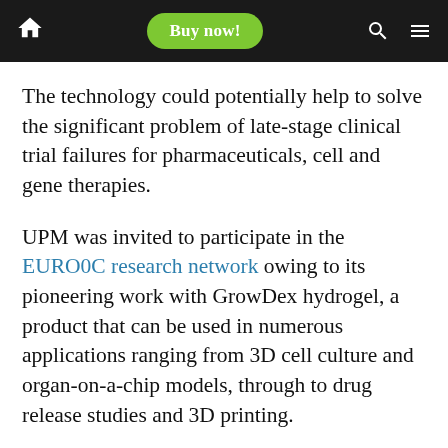Buy now!
The technology could potentially help to solve the significant problem of late-stage clinical trial failures for pharmaceuticals, cell and gene therapies.
UPM was invited to participate in the EURO0C research network owing to its pioneering work with GrowDex hydrogel, a product that can be used in numerous applications ranging from 3D cell culture and organ-on-a-chip models, through to drug release studies and 3D printing.
“We can obviously provide scientific support for the project as we have good knowledge of cultivating different cell types in our GrowDex product. Our hydrogel allows cells to be oriented